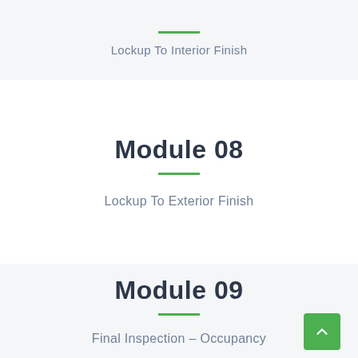Lockup To Interior Finish
Module 08
Lockup To Exterior Finish
Module 09
Final Inspection – Occupancy